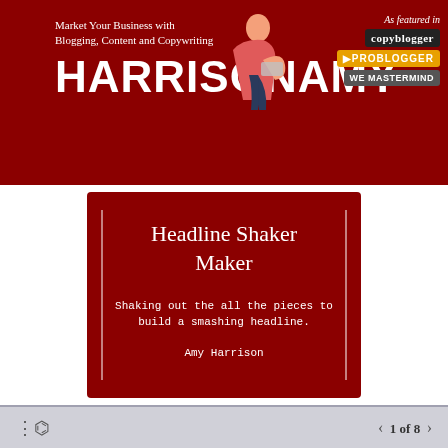Market Your Business with Blogging, Content and Copywriting
HARRISONAMY
[Figure (logo): As featured in: copyblogger, PROBLOGGER, WE MASTERMIND badges]
Headline Shaker Maker
Shaking out the all the pieces to build a smashing headline.
Amy Harrison
1 of 8